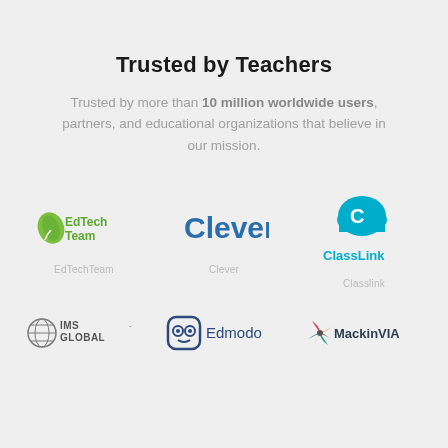Trusted by Teachers
Trusted by more than 10 million worldwide users, partners, and educational organizations that believe in our mission.
[Figure (logo): EdTechTeam logo - green leaf with EdTechTeam text in green]
EdTechTeam
[Figure (logo): Clever logo - blue text reading Clever]
Clever
[Figure (logo): ClassLink logo - teal cloud with C letter and ClassLink text in teal]
Classlink
[Figure (logo): IMS Global logo - globe icon with IMS GLOBAL text]
[Figure (logo): Edmodo logo - owl face icon with Edmodo text in dark blue]
[Figure (logo): MackinVIA logo - colorful pinwheel with MackinVIA text]